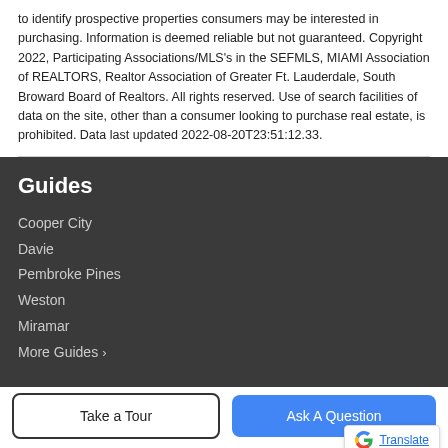to identify prospective properties consumers may be interested in purchasing. Information is deemed reliable but not guaranteed. Copyright 2022, Participating Associations/MLS's in the SEFMLS, MIAMI Association of REALTORS, Realtor Association of Greater Ft. Lauderdale, South Broward Board of Realtors. All rights reserved. Use of search facilities of data on the site, other than a consumer looking to purchase real estate, is prohibited. Data last updated 2022-08-20T23:51:12.33.
Guides
Cooper City
Davie
Pembroke Pines
Weston
Miramar
More Guides >